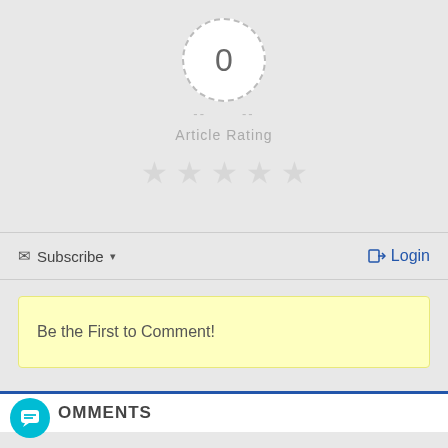[Figure (other): Article rating widget showing a circle with '0' surrounded by a dashed border, dashes on either side, label 'Article Rating', and five faded star icons below]
Subscribe ▾
Login
Be the First to Comment!
[Figure (other): Image/media icon button (small frame icon) in bottom right]
COMMENTS